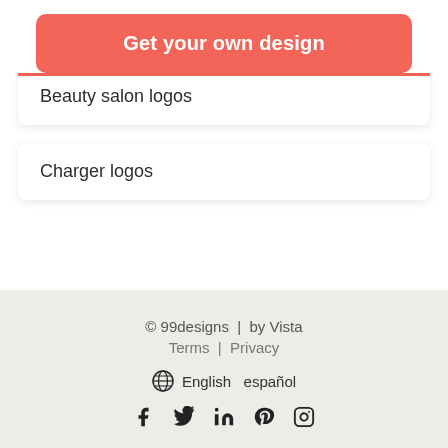[Figure (other): Red/coral rounded button labeled 'Get your own design']
Beauty salon logos
Charger logos
© 99designs | by Vista
Terms | Privacy
English español
Social icons: Facebook, Twitter, LinkedIn, Pinterest, Instagram